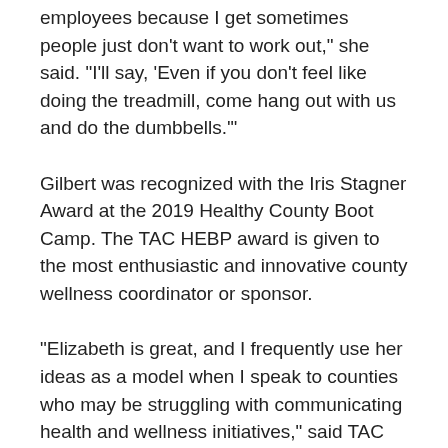employees because I get sometimes people just don't want to work out," she said. "I'll say, 'Even if you don't feel like doing the treadmill, come hang out with us and do the dumbbells.'"
Gilbert was recognized with the Iris Stagner Award at the 2019 Healthy County Boot Camp. The TAC HEBP award is given to the most enthusiastic and innovative county wellness coordinator or sponsor.
"Elizabeth is great, and I frequently use her ideas as a model when I speak to counties who may be struggling with communicating health and wellness initiatives," said TAC HEBP Wellness Consultant Stacey Bruington. "She has these wellness newsletters, Toilet Talks, that she puts on the back of bathroom stalls, and they're quite